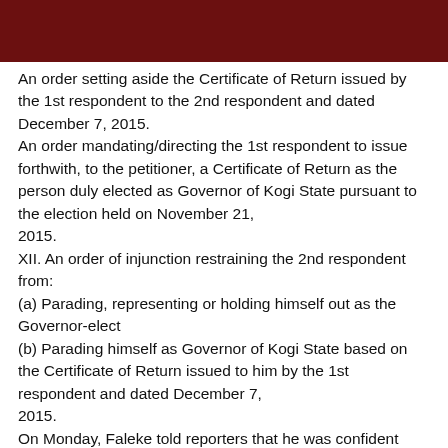An order setting aside the Certificate of Return issued by the 1st respondent to the 2nd respondent and dated December 7, 2015.
An order mandating/directing the 1st respondent to issue forthwith, to the petitioner, a Certificate of Return as the person duly elected as Governor of Kogi State pursuant to the election held on November 21, 2015.
XII. An order of injunction restraining the 2nd respondent from:
(a) Parading, representing or holding himself out as the Governor-elect
(b) Parading himself as Governor of Kogi State based on the Certificate of Return issued to him by the 1st respondent and dated December 7, 2015.
On Monday, Faleke told reporters that he was confident